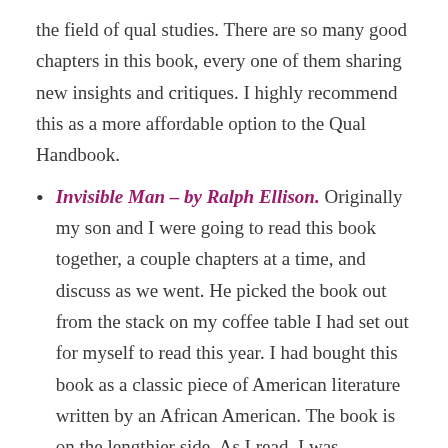the field of qual studies. There are so many good chapters in this book, every one of them sharing new insights and critiques. I highly recommend this as a more affordable option to the Qual Handbook.
Invisible Man – by Ralph Ellison. Originally my son and I were going to read this book together, a couple chapters at a time, and discuss as we went. He picked the book out from the stack on my coffee table I had set out for myself to read this year. I had bought this book as a classic piece of American literature written by an African American. The book is on the lengthier side. As I read, I was imagining Malcolm X and his coming of age in some ways. I think in some ways, at some junctures, it